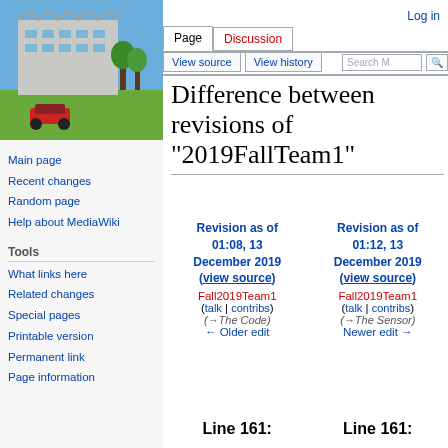[Figure (photo): Photo of a modern building (Geisel Library UCSD) with wavy concrete architecture and blue sky, with an RC car on grass in the foreground]
Main page
Recent changes
Random page
Help about MediaWiki
Tools
What links here
Related changes
Special pages
Printable version
Permanent link
Page information
Log in
Difference between revisions of "2019FallTeam1"
| Revision as of 01:08, 13 December 2019 (view source) | Revision as of 01:12, 13 December 2019 (view source) |
| --- | --- |
| Fall2019Team1 | Fall2019Team1 |
| (talk | contribs) | (talk | contribs) |
| (→The Code) | (→The Sensor) |
| ← Older edit | Newer edit → |
Line 161:
Line 161: